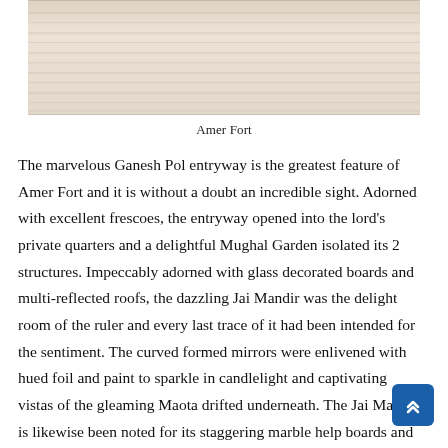[Figure (photo): A partial view of Amer Fort showing stone/wood architectural surfaces with horizontal striations, light tan and cream tones.]
Amer Fort
The marvelous Ganesh Pol entryway is the greatest feature of Amer Fort and it is without a doubt an incredible sight. Adorned with excellent frescoes, the entryway opened into the lord's private quarters and a delightful Mughal Garden isolated its 2 structures. Impeccably adorned with glass decorated boards and multi-reflected roofs, the dazzling Jai Mandir was the delight room of the ruler and every last trace of it had been intended for the sentiment. The curved formed mirrors were enlivened with hued foil and paint to sparkle in candlelight and captivating vistas of the gleaming Maota drifted underneath. The Jai Mandir is likewise been noted for its staggering marble help boards and the "Enchantment Flower" covered up among strong blossoms and odd bugs carvings. The Sukh Niwas or the Hall of Pleasure with its ivory decorated sandalwood entryway and characteristic cooling framework remained inverse to the Jai Mandir and I loose in its shadows for long.